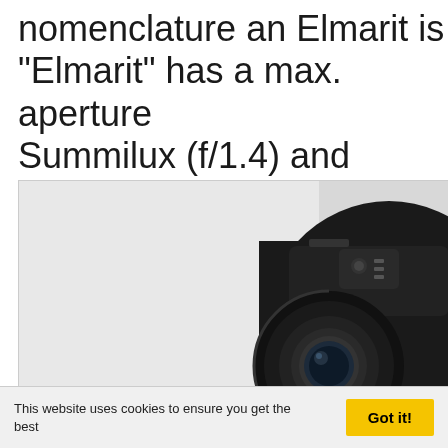nomenclature an Elmarit is "Elmarit" has a max. aperture Summilux (f/1.4) and Noctilux is, you guessed it already, a zo
[Figure (photo): Close-up photo of a Panasonic DMC-L1 camera body showing the top controls and lens mount area against a light grey background.]
This website uses cookies to ensure you get the best